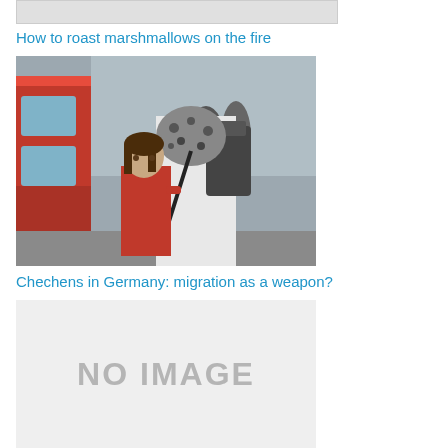[Figure (photo): Placeholder/cropped image strip at the top, light gray background]
How to roast marshmallows on the fire
[Figure (photo): Photo of refugees/migrants at a train platform. A young girl in a red jacket looks at the camera while being held by a woman in a white headscarf and leopard-print hijab carrying a backpack. A red train is visible on the left.]
Chechens in Germany: migration as a weapon?
[Figure (photo): No image placeholder — light gray box with 'NO IMAGE' text in gray]